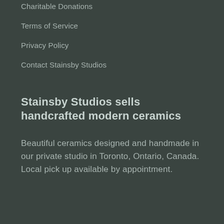Charitable Donations
Terms of Service
Privacy Policy
Contact Stainsby Studios
Stainsby Studios sells handcrafted modern ceramics
Beautiful ceramics designed and handmade in our private studio in Toronto, Ontario, Canada. Local pick up available by appointment.